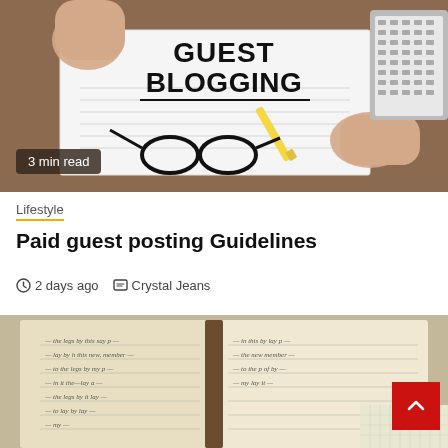[Figure (photo): Hands holding a card with 'GUEST BLOGGING' text, glasses, pencil, and laptop on a wooden desk. Badge reads '3 min read'.]
Lifestyle
Paid guest posting Guidelines
2 days ago   Crystal Jeans
[Figure (photo): Open vintage journal/notebook with handwritten text, partially visible. Red scroll-to-top button in bottom right.]